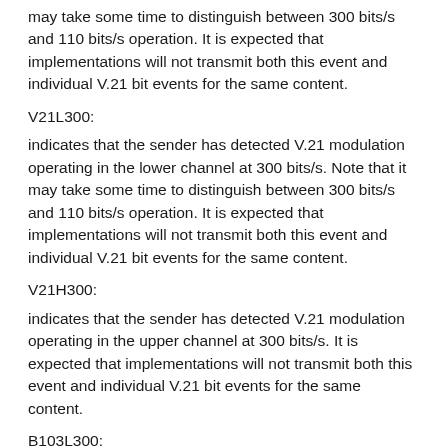may take some time to distinguish between 300 bits/s and 110 bits/s operation. It is expected that implementations will not transmit both this event and individual V.21 bit events for the same content.
V21L300:
indicates that the sender has detected V.21 modulation operating in the lower channel at 300 bits/s. Note that it may take some time to distinguish between 300 bits/s and 110 bits/s operation. It is expected that implementations will not transmit both this event and individual V.21 bit events for the same content.
V21H300:
indicates that the sender has detected V.21 modulation operating in the upper channel at 300 bits/s. It is expected that implementations will not transmit both this event and individual V.21 bit events for the same content.
B103L300: